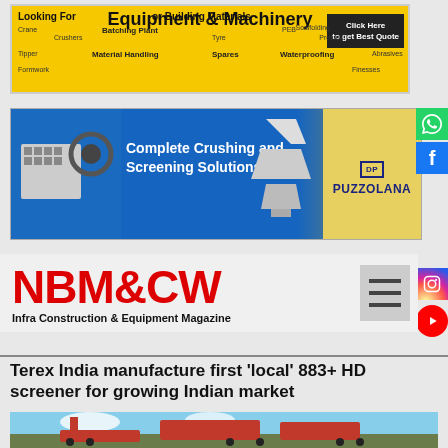[Figure (illustration): Yellow advertisement banner for Equipment & Machinery or Building Materials with 'Click Here to get Best Quote' button]
[Figure (illustration): Blue advertisement banner for Puzzolana showing complete crushing and screening solutions with crusher machine images]
[Figure (logo): NBM&CW - Infra Construction & Equipment Magazine logo with hamburger menu icon]
Terex India manufacture first 'local' 883+ HD screener for growing Indian market
[Figure (photo): Photo of a Terex 883+ HD screener machine outdoors against a blue sky with rocky terrain in background]